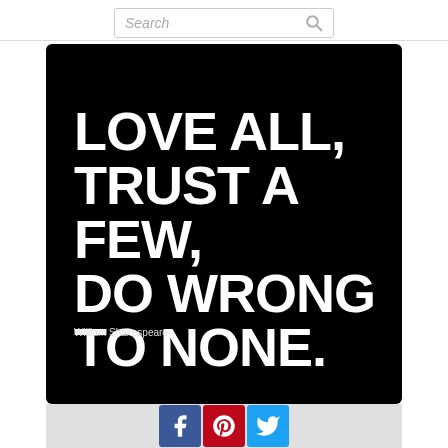[Figure (screenshot): Search bar at top of webpage with placeholder text 'Search' and magnifying glass icon]
[Figure (illustration): Black square image with large white bold text reading: LOVE ALL, TRUST A FEW, DO WRONG TO NONE. Attribution: William Shakespeare]
[Figure (infographic): Social media sharing buttons: Facebook (blue), Pinterest (red), Twitter (light blue)]